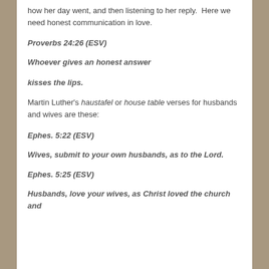how her day went, and then listening to her reply.  Here we need honest communication in love.
Proverbs 24:26 (ESV)
Whoever gives an honest answer
kisses the lips.
Martin Luther's haustafel or house table verses for husbands and wives are these:
Ephes. 5:22 (ESV)
Wives, submit to your own husbands, as to the Lord.
Ephes. 5:25 (ESV)
Husbands, love your wives, as Christ loved the church and